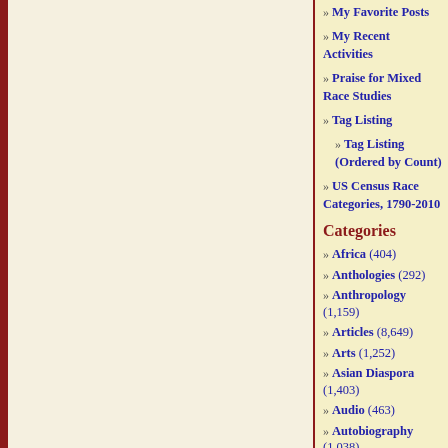» My Favorite Posts
» My Recent Activities
» Praise for Mixed Race Studies
» Tag Listing
» Tag Listing (Ordered by Count)
» US Census Race Categories, 1790-2010
Categories
» Africa (404)
» Anthologies (292)
» Anthropology (1,159)
» Articles (8,649)
» Arts (1,252)
» Asian Diaspora (1,403)
» Audio (463)
» Autobiography (1,038)